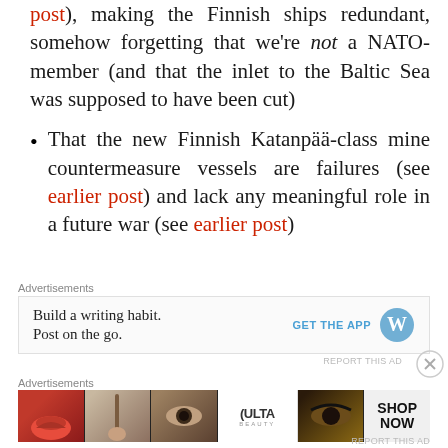post), making the Finnish ships redundant, somehow forgetting that we're not a NATO-member (and that the inlet to the Baltic Sea was supposed to have been cut)
That the new Finnish Katanpää-class mine countermeasure vessels are failures (see earlier post) and lack any meaningful role in a future war (see earlier post)
Advertisements
[Figure (other): WordPress advertisement: Build a writing habit. Post on the go. GET THE APP with WordPress logo]
Advertisements
[Figure (other): Ulta Beauty advertisement banner showing cosmetics/makeup imagery with SHOP NOW call to action]